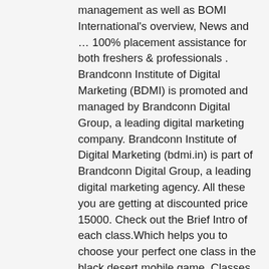management as well as BOMI International's overview, News and … 100% placement assistance for both freshers & professionals . Brandconn Institute of Digital Marketing (BDMI) is promoted and managed by Brandconn Digital Group, a leading digital marketing company. Brandconn Institute of Digital Marketing (bdmi.in) is part of Brandconn Digital Group, a leading digital marketing agency. All these you are getting at discounted price 15000. Check out the Brief Intro of each class.Which helps you to choose your perfect one class in the black desert mobile game. Classes on Saturday and Sunday- 11:00 am to 1:00 pm. Become proficient in all internet platforms and modules of digital marketing like SEO, SEM, Social Media, Email Marketing, Inbound Marketing and more. 14 talking about this. Vawsum Schools Pvt Ltd. Parent teacher engagement application for B.D. For Arts B, 1 Political Science and 2 Geography class in the first 3 days and 2 Political Science and 1 Geography class in the next 3 days: For Arts C, 2 Political Science and 1 Geography class in the first 3 days and 1 Political Science and 2 Geography class in the